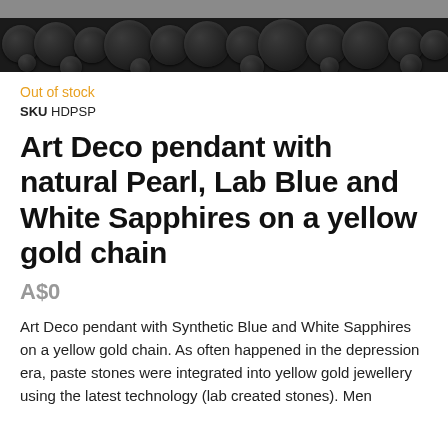[Figure (photo): Dark decorative header image with black pearl/bubble texture against dark background, with grey bar above]
Out of stock
SKU HDPSP
Art Deco pendant with natural Pearl, Lab Blue and White Sapphires on a yellow gold chain
A$0
Art Deco pendant with Synthetic Blue and White Sapphires on a yellow gold chain. As often happened in the depression era, paste stones were integrated into yellow gold jewellery using the latest technology (lab created stones). Men